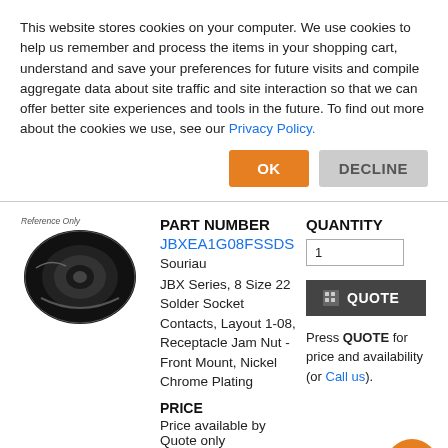This website stores cookies on your computer. We use cookies to help us remember and process the items in your shopping cart, understand and save your preferences for future visits and compile aggregate data about site traffic and site interaction so that we can offer better site experiences and tools in the future. To find out more about the cookies we use, see our Privacy Policy.
OK
DECLINE
[Figure (photo): Product photo of a circular electrical connector (JBX series receptacle) on black background, with 'Reference Only' label above]
PART NUMBER
JBXEA1G08FSSDS
Souriau
JBX Series, 8 Size 22 Solder Socket Contacts, Layout 1-08, Receptacle Jam Nut - Front Mount, Nickel Chrome Plating
QUANTITY
1
QUOTE
PRICE
Price available by Quote only
Press QUOTE for price and availability (or Call us).
AVAILABLE
0